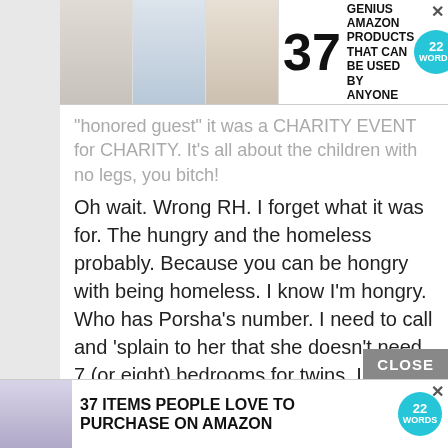[Figure (screenshot): Top advertisement banner: 37 Genius Amazon Products That Can Be Used By Anyone, with product images and 22 Words badge]
"honored guest" it was a CHARITY EVENT for CHARITY. It's all about the children with no legs, you bitch! Oh wait. Wrong RH. I forget what it was for. The hungry and the homeless probably. Because you can be hongry with being homeless. I know I'm hongry. Who has Porsha's number. I need to call and 'splain to her that she doesn't need 7 (or eight) bedrooms for twins. I'm sure she still has a room open for me.
Reply
[Figure (screenshot): Bottom advertisement banner: 37 Items People Love To Purchase On Amazon, with product images and 22 Words badge]